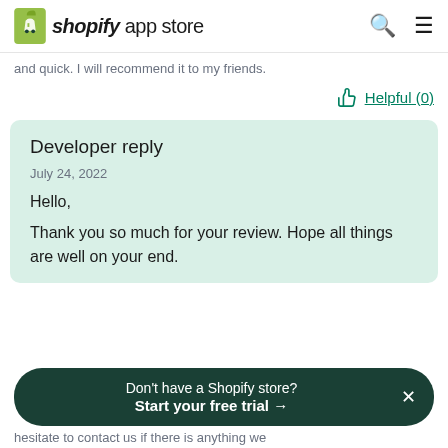shopify app store
and quick. I will recommend it to my friends.
Helpful (0)
Developer reply
July 24, 2022
Hello,
Thank you so much for your review. Hope all things are well on your end.
Don't have a Shopify store? Start your free trial →
hesitate to contact us if there is anything we